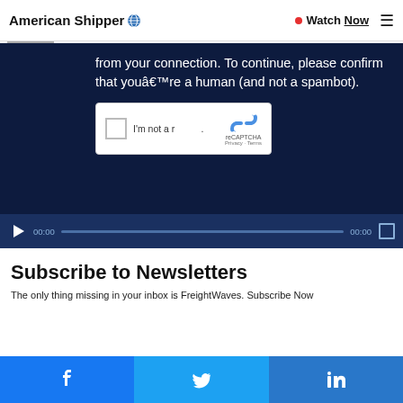American Shipper | Watch Now
[Figure (screenshot): Video player with CAPTCHA overlay on dark navy background. Text reads: 'from your connection. To continue, please confirm that youâ€™re a human (and not a spambot).' with reCAPTCHA checkbox widget visible. Video controls bar at bottom shows play button, 00:00 timestamps and progress bar.]
Subscribe to Newsletters
The only thing missing in your inbox is FreightWaves. Subscribe Now
[Figure (infographic): Social share bar with Facebook, Twitter, and LinkedIn buttons]